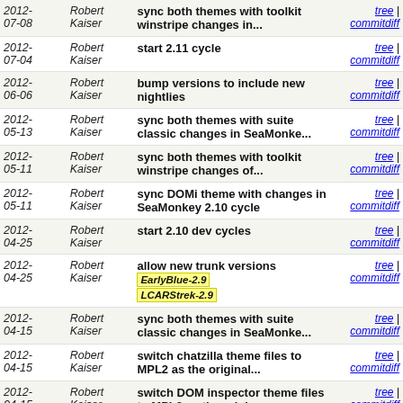| Date | Author | Message | Links |
| --- | --- | --- | --- |
| 2012-07-08 | Robert Kaiser | sync both themes with toolkit winstripe changes in... | tree | commitdiff |
| 2012-07-04 | Robert Kaiser | start 2.11 cycle | tree | commitdiff |
| 2012-06-06 | Robert Kaiser | bump versions to include new nightlies | tree | commitdiff |
| 2012-05-13 | Robert Kaiser | sync both themes with suite classic changes in SeaMonke... | tree | commitdiff |
| 2012-05-11 | Robert Kaiser | sync both themes with toolkit winstripe changes of... | tree | commitdiff |
| 2012-05-11 | Robert Kaiser | sync DOMi theme with changes in SeaMonkey 2.10 cycle | tree | commitdiff |
| 2012-04-25 | Robert Kaiser | start 2.10 dev cycles | tree | commitdiff |
| 2012-04-25 | Robert Kaiser | allow new trunk versions [EarlyBlue-2.9] [LCARStrek-2.9] | tree | commitdiff |
| 2012-04-15 | Robert Kaiser | sync both themes with suite classic changes in SeaMonke... | tree | commitdiff |
| 2012-04-15 | Robert Kaiser | switch chatzilla theme files to MPL2 as the original... | tree | commitdiff |
| 2012-04-15 | Robert Kaiser | switch DOM inspector theme files to MPL2 as the origina... | tree | commitdiff |
| 2012-04-08 | Robert Kaiser | Merge branch 'master' of linz:/srv/git/themes | tree | commitdiff |
| 2012-04-08 | Robert Kaiser | finish up sync with Mozilla 12 toolkit winstripe | tree | commitdiff |
| 2012-... | Robert... | fix a few issues pointed out by AMO... | tree | |